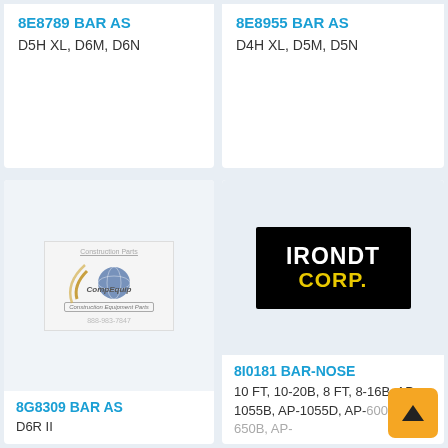8E8789 BAR AS
D5H XL, D6M, D6N
8E8955 BAR AS
D4H XL, D5M, D5N
[Figure (logo): CompEquip construction parts logo with phone number 888-983-7847]
8G8309 BAR AS
D6R II
[Figure (logo): IRONDT CORP. logo — black background with white IRONDT and yellow CORP. text]
8I0181 BAR-NOSE
10 FT, 10-20B, 8 FT, 8-16B, AP-1055B, AP-1055D, AP-600D, AP-650B, AP-